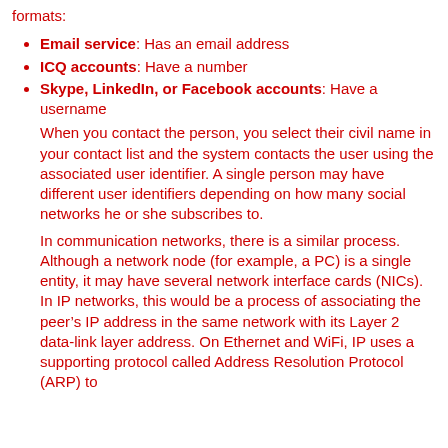formats:
Email service: Has an email address
ICQ accounts: Have a number
Skype, LinkedIn, or Facebook accounts: Have a username
When you contact the person, you select their civil name in your contact list and the system contacts the user using the associated user identifier. A single person may have different user identifiers depending on how many social networks he or she subscribes to.
In communication networks, there is a similar process. Although a network node (for example, a PC) is a single entity, it may have several network interface cards (NICs). In IP networks, this would be a process of associating the peer’s IP address in the same network with its Layer 2 data-link layer address. On Ethernet and WiFi, IP uses a supporting protocol called Address Resolution Protocol (ARP) to